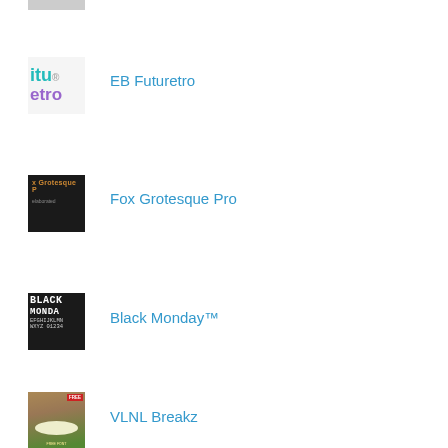[Figure (illustration): Partial gray thumbnail at top of page]
[Figure (illustration): EB Futuretro font thumbnail showing colorful retro-styled text]
EB Futuretro
[Figure (illustration): Fox Grotesque Pro font thumbnail on dark background with orange text]
Fox Grotesque Pro
[Figure (illustration): Black Monday font thumbnail showing bold white letters on black background]
Black Monday™
[Figure (illustration): VLNL Breakz font thumbnail showing food photo with FREE tag]
VLNL Breakz